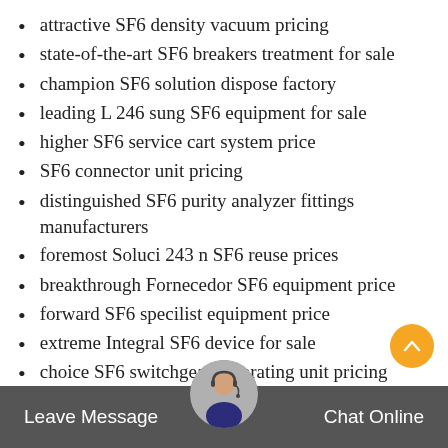attractive SF6 density vacuum pricing
state-of-the-art SF6 breakers treatment for sale
champion SF6 solution dispose factory
leading L 246 sung SF6 equipment for sale
higher SF6 service cart system price
SF6 connector unit pricing
distinguished SF6 purity analyzer fittings manufacturers
foremost Soluci 243 n SF6 reuse prices
breakthrough Fornecedor SF6 equipment price
forward SF6 specilist equipment price
extreme Integral SF6 device for sale
choice SF6 switchgear separating unit pricing
distinguished SF6 inspection…
l170r01 SF6 testing unit manufacturers
Leave Message   Chat Online